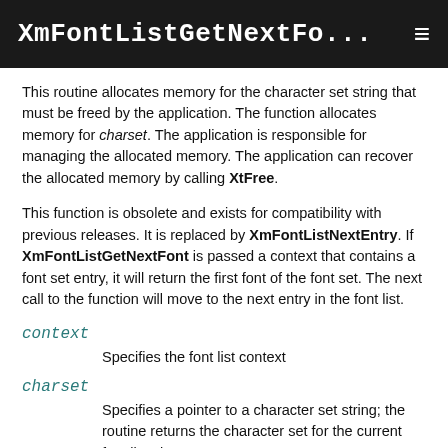XmFontListGetNextFo... ≡
This routine allocates memory for the character set string that must be freed by the application. The function allocates memory for charset. The application is responsible for managing the allocated memory. The application can recover the allocated memory by calling XtFree.
This function is obsolete and exists for compatibility with previous releases. It is replaced by XmFontListNextEntry. If XmFontListGetNextFont is passed a context that contains a font set entry, it will return the first font of the font set. The next call to the function will move to the next entry in the font list.
context
Specifies the font list context
charset
Specifies a pointer to a character set string; the routine returns the character set for the current font list element
font...